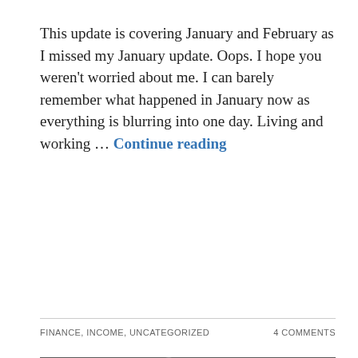This update is covering January and February as I missed my January update. Oops. I hope you weren't worried about me. I can barely remember what happened in January now as everything is blurring into one day. Living and working … Continue reading
FINANCE, INCOME, UNCATEGORIZED
4 COMMENTS
[Figure (map): A map of the United Kingdom showing regions of England highlighted in dark blue, including North East, North West, Yorkshire and The Humber, with Northern Ireland shown in outline. A text box on the right side contains information about Government Office Regions.]